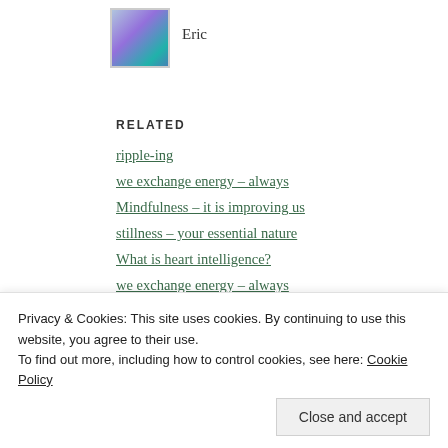[Figure (photo): Small avatar/profile image thumbnail with colorful fantasy art, inside a bordered box]
Eric
RELATED
ripple-ing
we exchange energy – always
Mindfulness – it is improving us
stillness – your essential nature
What is heart intelligence?
we exchange energy – always
heart coherence?
Privacy & Cookies: This site uses cookies. By continuing to use this website, you agree to their use.
To find out more, including how to control cookies, see here: Cookie Policy
Close and accept